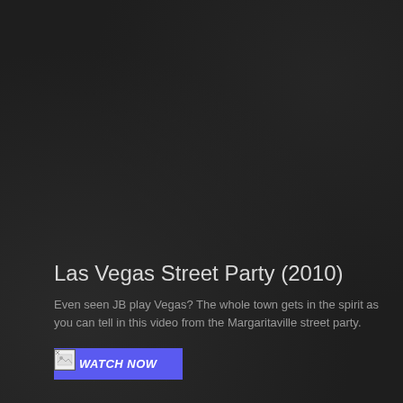Las Vegas Street Party (2010)
Even seen JB play Vegas? The whole town gets in the spirit as you can tell in this video from the Margaritaville street party.
WATCH NOW
[Figure (other): Broken image placeholder icon (small, bottom left area)]